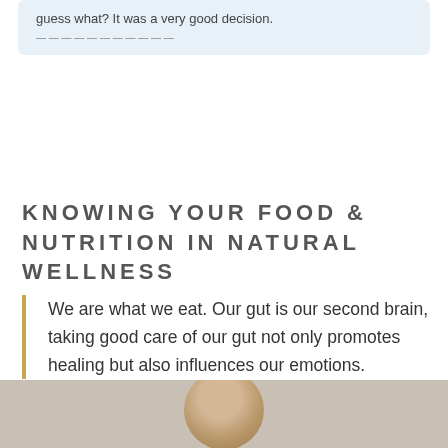guess what? It was a very good decision.
KNOWING YOUR FOOD & NUTRITION IN NATURAL WELLNESS
We are what we eat. Our gut is our second brain, taking good care of our gut not only promotes healing but also influences our emotions.
[Figure (photo): Person photographed from head and shoulders, partially visible at bottom of page]